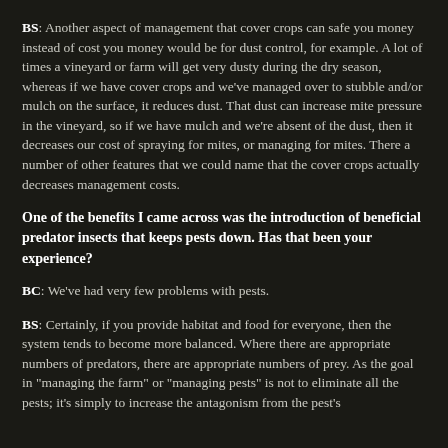BS: Another aspect of management that cover crops can safe you money instead of cost you money would be for dust control, for example. A lot of times a vineyard or farm will get very dusty during the dry season, whereas if we have cover crops and we've managed over to stubble and/or mulch on the surface, it reduces dust. That dust can increase mite pressure in the vineyard, so if we have mulch and we're absent of the dust, then it decreases our cost of spraying for mites, or managing for mites. There a number of other features that we could name that the cover crops actually decreases management costs.
One of the benefits I came across was the introduction of beneficial predator insects that keeps pests down. Has that been your experience?
BC: We've had very few problems with pests.
BS: Certainly, if you provide habitat and food for everyone, then the system tends to become more balanced. Where there are appropriate numbers of predators, there are appropriate numbers of prey. As the goal in 'managing the farm' or 'managing pests' is not to eliminate all the pests; it's simply to increase the antagonism from the pest's